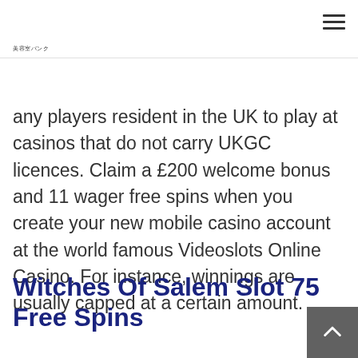美容室バンク
any players resident in the UK to play at casinos that do not carry UKGC licences. Claim a £200 welcome bonus and 11 wager free spins when you create your new mobile casino account at the world famous Videoslots Online Casino. For instance, winnings are usually capped at a certain amount.
Witches Of Salem Slot 75 Free Spins